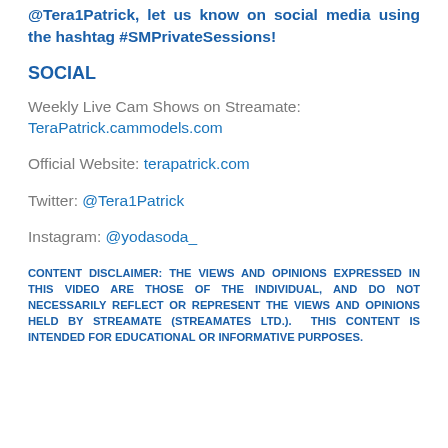If you enjoyed this interview with @Tera1Patrick, let us know on social media using the hashtag #SMPrivateSessions!
SOCIAL
Weekly Live Cam Shows on Streamate: TeraPatrick.cammodels.com
Official Website: terapatrick.com
Twitter: @Tera1Patrick
Instagram: @yodasoda_
CONTENT DISCLAIMER: THE VIEWS AND OPINIONS EXPRESSED IN THIS VIDEO ARE THOSE OF THE INDIVIDUAL, AND DO NOT NECESSARILY REFLECT OR REPRESENT THE VIEWS AND OPINIONS HELD BY STREAMATE (STREAMATES LTD.).  THIS CONTENT IS INTENDED FOR EDUCATIONAL OR INFORMATIVE PURPOSES.